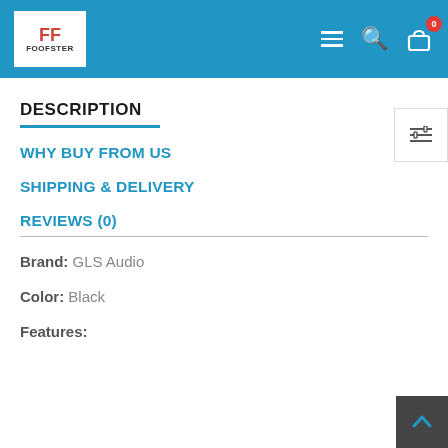[Figure (logo): Foofster logo with red FF icon and store name on white background, inside blue navigation header with hamburger menu, search, and cart icons]
DESCRIPTION
WHY BUY FROM US
SHIPPING & DELIVERY
REVIEWS (0)
Brand: GLS Audio
Color: Black
Features: